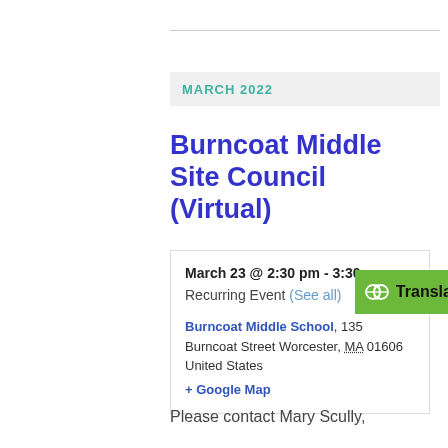MARCH 2022
Burncoat Middle Site Council (Virtual)
March 23 @ 2:30 pm - 3:30 pm
Recurring Event (See all)
Burncoat Middle School, 135 Burncoat Street Worcester, MA 01606 United States + Google Map
Please contact Mary Scully,